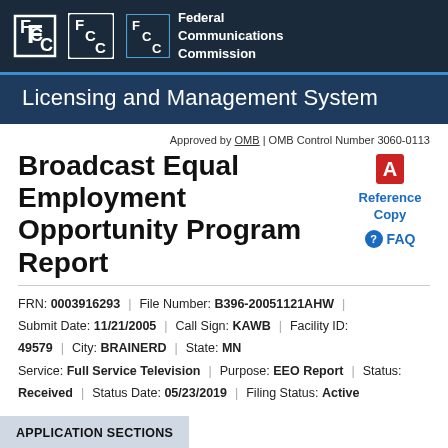[Figure (logo): FCC Federal Communications Commission logo, white on dark navy background]
Licensing and Management System
Approved by OMB | OMB Control Number 3060-0113
Broadcast Equal Employment Opportunity Program Report
[Figure (other): PDF icon and Reference Copy link; FAQ circle icon and FAQ link]
FRN: 0003916293 | File Number: B396-20051121AHW
Submit Date: 11/21/2005 | Call Sign: KAWB | Facility ID:
49579 | City: BRAINERD | State: MN
Service: Full Service Television | Purpose: EEO Report | Status:
Received | Status Date: 05/23/2019 | Filing Status: Active
APPLICATION SECTIONS